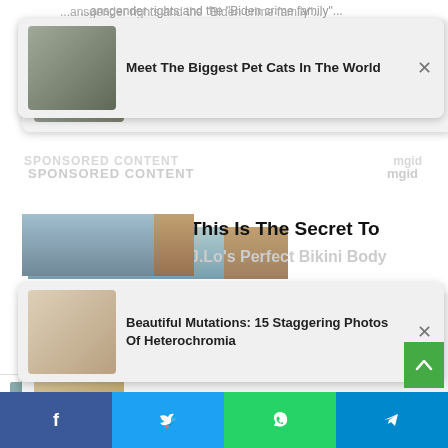[Figure (screenshot): Ad card: cat photo with text 'Meet The Biggest Pet Cats In The World' and X close button]
[Figure (screenshot): Partially visible background article 'This Is The Secret To J.Lo's Perfect Bikini Body']
[Figure (screenshot): Ad card: woman with dog photo, text 'Beautiful Mutations: 15 Staggering Photos Of Heterochromia' and X close button]
[Figure (screenshot): Article: two people taking selfies, title 'Think Keto Has Helped Me? No, This Was The Worst Diet I've Tried', source Herbeauty]
[Figure (screenshot): Article: close-up face photo, title '14 Natural Home Remedies & Tips For Baby Smooth Face']
[Figure (screenshot): Social sharing bar with Facebook, Twitter, WhatsApp, Telegram buttons]